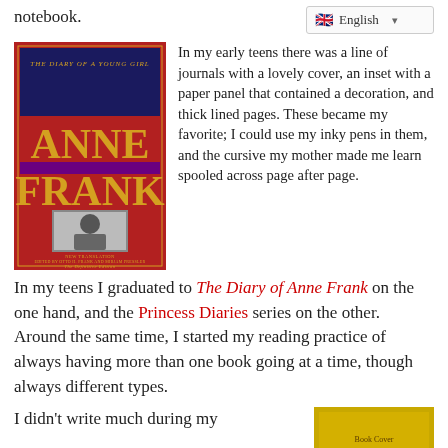notebook.
[Figure (screenshot): Language selector dropdown showing English with UK flag]
[Figure (photo): Book cover: The Diary of a Young Girl by Anne Frank, The Definitive Edition]
In my early teens there was a line of journals with a lovely cover, an inset with a paper panel that contained a decoration, and thick lined pages. These became my favorite; I could use my inky pens in them, and the cursive my mother made me learn spooled across page after page. In my teens I graduated to The Diary of Anne Frank on the one hand, and the Princess Diaries series on the other. Around the same time, I started my reading practice of always having more than one book going at a time, though always different types.
I didn't write much during my